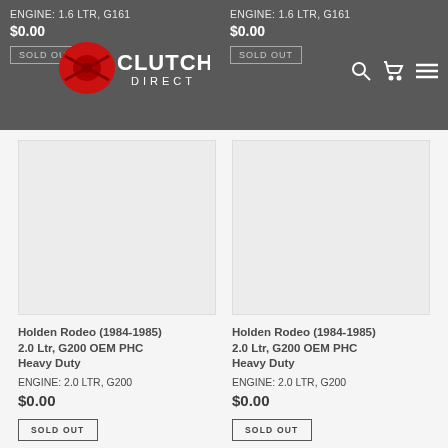ENGINE: 1.6 LTR, G161 | $0.00 | SOLD OUT | ENGINE: 1.6 LTR, G161 | $0.00 | SOLD OUT
[Figure (logo): Clutch Direct logo with red clutch disc graphic and white text on dark background]
Holden Rodeo (1984-1985) 2.0 Ltr, G200 OEM PHC Heavy Duty ENGINE: 2.0 LTR, G200 $0.00 SOLD OUT
Holden Rodeo (1984-1985) 2.0 Ltr, G200 OEM PHC Heavy Duty ENGINE: 2.0 LTR, G200 $0.00 SOLD OUT